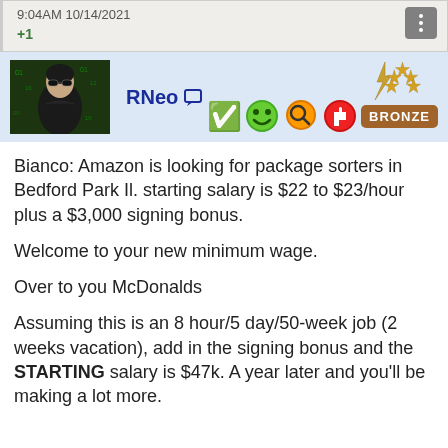9:04AM 10/14/2021
+1
[Figure (screenshot): User profile bar with avatar photo (Keanu Reeves as Neo from The Matrix), username 'RNeo' with chat icon, emoji badges (checkmark, smiley, chat bubble, thumbs up), BRONZE badge, and rank star icons]
Bianco: Amazon is looking for package sorters in Bedford Park Il. starting salary is $22 to $23/hour plus a $3,000 signing bonus.
Welcome to your new minimum wage.
Over to you McDonalds
Assuming this is an 8 hour/5 day/50-week job (2 weeks vacation), add in the signing bonus and the STARTING salary is $47k. A year later and you'll be making a lot more.